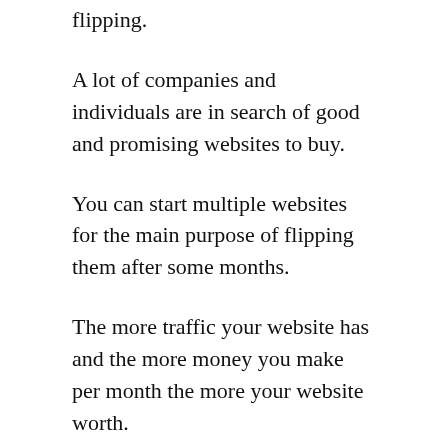flipping.
A lot of companies and individuals are in search of good and promising websites to buy.
You can start multiple websites for the main purpose of flipping them after some months.
The more traffic your website has and the more money you make per month the more your website worth.
Your website's worth is calculated by multiplying the monthly income by 12 months or 24 months while some sell their website based on 36 months.